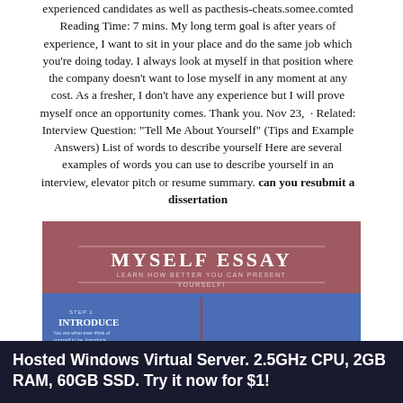experienced candidates as well as pacthesis-cheats.somee.comted Reading Time: 7 mins. My long term goal is after years of experience, I want to sit in your place and do the same job which you're doing today. I always look at myself in that position where the company doesn't want to lose myself in any moment at any cost. As a fresher, I don't have any experience but I will prove myself once an opportunity comes. Thank you. Nov 23,  · Related: Interview Question: "Tell Me About Yourself" (Tips and Example Answers) List of words to describe yourself Here are several examples of words you can use to describe yourself in an interview, elevator pitch or resume summary. can you resubmit a dissertation
[Figure (illustration): Infographic titled 'MYSELF ESSAY - LEARN HOW BETTER YOU CAN PRESENT YOURSELF!' with a dark red/mauve header section and blue lower section. Shows steps: Step 1 INTRODUCE, Step 2 YOUR FAMILY?, Step 4 ACHIEVEMENTS?, with descriptive text under each step.]
Hosted Windows Virtual Server. 2.5GHz CPU, 2GB RAM, 60GB SSD. Try it now for $1!